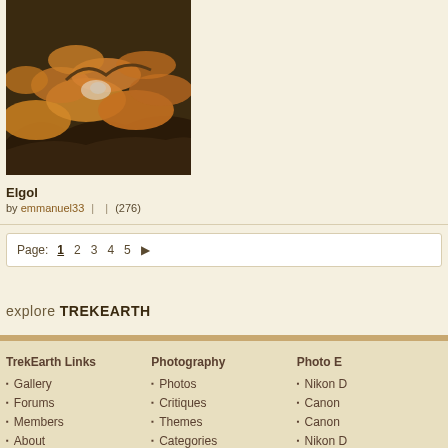[Figure (photo): Photograph of Elgol - rocky coastal scene with orange/rust colored lichen or seaweed on dark rocks]
Elgol
by emmanuel33  |  | (276)
Page: 1 2 3 4 5 ▶
explore TREKEARTH
TrekEarth Links
Gallery
Forums
Members
About
RSS Feeds
Photography
Photos
Critiques
Themes
Categories
Workshops
Photo E
Nikon D
Canon
Canon
Nikon D
Panase